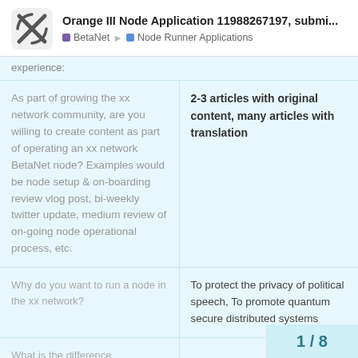Orange III Node Application 11988267197, submi... | BetaNet | Node Runner Applications
experience:
| Question | Answer |
| --- | --- |
| As part of growing the xx network community, are you willing to create content as part of operating an xx network BetaNet node? Examples would be node setup & on-boarding review vlog post, bi-weekly twitter update, medium review of on-going node operational process, etc. | 2-3 articles with original content, many articles with translation |
| Why do you want to run a node in the xx network? | To protect the privacy of political speech, To promote quantum secure distributed systems |
| What is the difference |  |
1 / 8